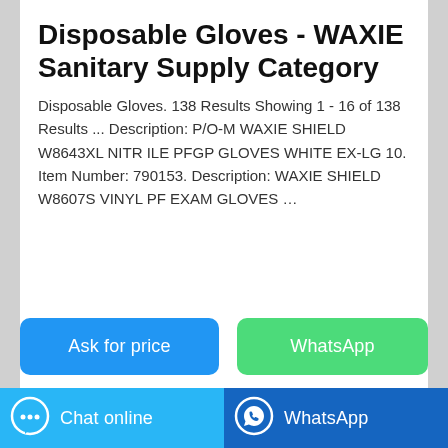Disposable Gloves - WAXIE Sanitary Supply Category
Disposable Gloves. 138 Results Showing 1 - 16 of 138 Results ... Description: P/O-M WAXIE SHIELD W8643XL NITR ILE PFGP GLOVES WHITE EX-LG 10. Item Number: 790153. Description: WAXIE SHIELD W8607S VINYL PF EXAM GLOVES …
[Figure (other): Button: Ask for price (blue rounded rectangle)]
[Figure (other): Button: WhatsApp (green rounded rectangle)]
[Figure (photo): Partial image of blue disposable gloves at bottom of card]
[Figure (other): Bottom bar: Chat online button (light blue) with chat bubble icon, and WhatsApp button (dark blue) with WhatsApp logo]